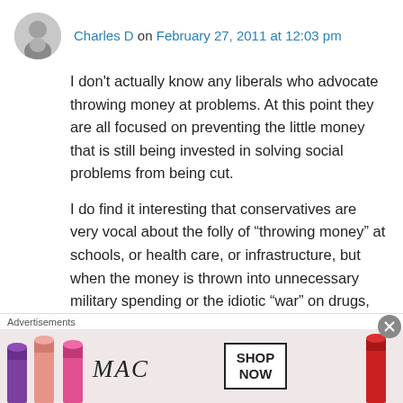Charles D on February 27, 2011 at 12:03 pm
I don't actually know any liberals who advocate throwing money at problems. At this point they are all focused on preventing the little money that is still being invested in solving social problems from being cut.
I do find it interesting that conservatives are very vocal about the folly of “throwing money” at schools, or health care, or infrastructure, but when the money is thrown into unnecessary military spending or the idiotic “war” on drugs, we don’t get many complaints from them. What’s
[Figure (advertisement): MAC Cosmetics advertisement showing lipsticks on the left, MAC logo in cursive, and a SHOP NOW box on the right with a red lipstick.]
Advertisements